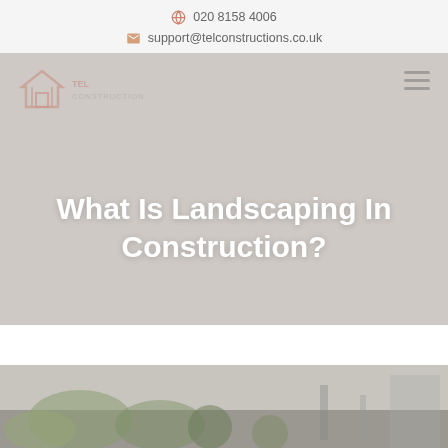020 8158 4006 | support@telconstructions.co.uk
[Figure (screenshot): TEL Construction company logo with house icon in red/orange, text 'TEL CONSTRUCTION' in faded style]
What Is Landscaping In Construction?
[Figure (photo): Landscaping/garden scene with greenery and outdoor construction elements]